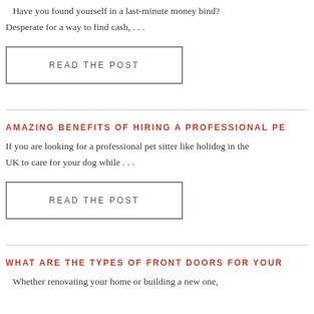Have you found yourself in a last-minute money bind? Desperate for a way to find cash, . . .
READ THE POST
AMAZING BENEFITS OF HIRING A PROFESSIONAL PE
If you are looking for a professional pet sitter like holidog in the UK to care for your dog while . . .
READ THE POST
WHAT ARE THE TYPES OF FRONT DOORS FOR YOUR
Whether renovating your home or building a new one,